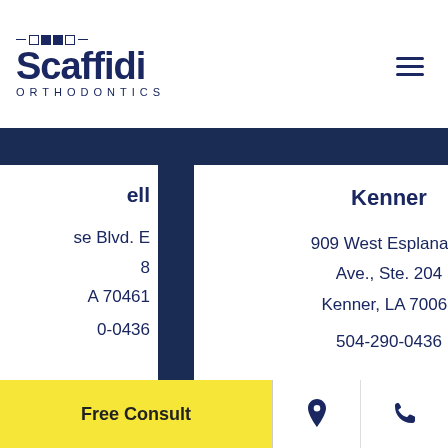[Figure (logo): Scaffidi Orthodontics logo with decorative icon and hamburger menu]
ell
Kenner
New O
se Blvd. E
909 West Esplanade Ave., Ste. 204
6264 Ca
8
Ste.
A 70461
Kenner, LA 70065
New Orl
0-0436
504-290-0436
70
504-29
Free Consult